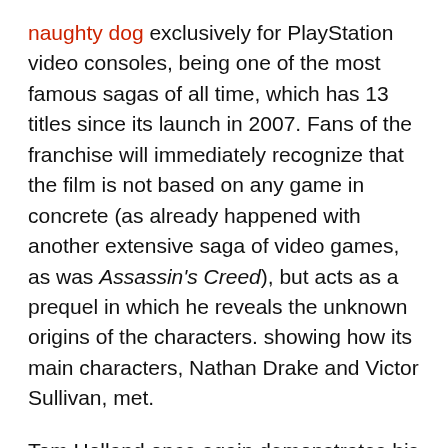naughty dog exclusively for PlayStation video consoles, being one of the most famous sagas of all time, which has 13 titles since its launch in 2007. Fans of the franchise will immediately recognize that the film is not based on any game in concrete (as already happened with another extensive saga of video games, as was Assassin's Creed), but acts as a prequel in which he reveals the unknown origins of the characters. showing how its main characters, Nathan Drake and Victor Sullivan, met.
Tom Holland once again demonstrates his skills as an action hero by putting himself in the shoes of Nathan Drake, a cunning young thief. Nathan is recruited by veteran bounty hunter Victor “Sully” Sullivan (Mark Wahlberg, Transformers: The Last Knight) to recover a fortune lost by the Spanish explorer Ferdinand Magellan